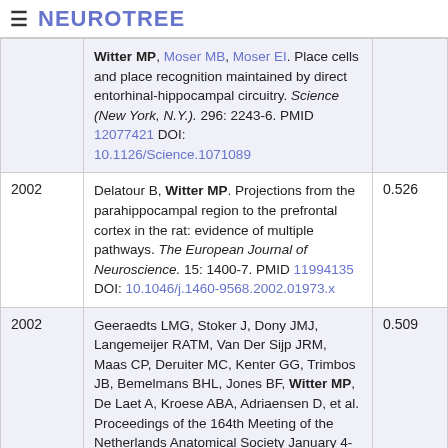≡ NEUROTREE
| Year | Reference | Score |
| --- | --- | --- |
|  | Witter MP, Moser MB, Moser EI. Place cells and place recognition maintained by direct entorhinal-hippocampal circuitry. Science (New York, N.Y.). 296: 2243-6. PMID 12077421 DOI: 10.1126/Science.1071089 |  |
| 2002 | Delatour B, Witter MP. Projections from the parahippocampal region to the prefrontal cortex in the rat: evidence of multiple pathways. The European Journal of Neuroscience. 15: 1400-7. PMID 11994135 DOI: 10.1046/j.1460-9568.2002.01973.x | 0.526 |
| 2002 | Geeraedts LMG, Stoker J, Dony JMJ, Langemeijer RATM, Van Der Sijp JRM, Maas CP, Deruiter MC, Kenter GG, Trimbos JB, Bemelmans BHL, Jones BF, Witter MP, De Laet A, Kroese ABA, Adriaensen D, et al. Proceedings of the 164th Meeting of the Netherlands Anatomical Society January 4-5, 2002 European Journal of Morphology. 40: 55-67. DOI: | 0.509 |